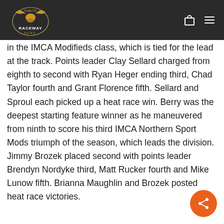[Figure (logo): Dodge City Raceway Park logo on dark header bar with shopping bag and hamburger menu icons]
in the IMCA Modifieds class, which is tied for the lead at the track. Points leader Clay Sellard charged from eighth to second with Ryan Heger ending third, Chad Taylor fourth and Grant Florence fifth. Sellard and Sproul each picked up a heat race win. Berry was the deepest starting feature winner as he maneuvered from ninth to score his third IMCA Northern Sport Mods triumph of the season, which leads the division. Jimmy Brozek placed second with points leader Brendyn Nordyke third, Matt Rucker fourth and Mike Lunow fifth. Brianna Maughlin and Brozek posted heat race victories.